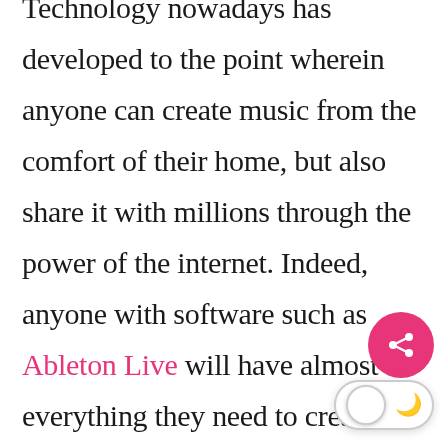Technology nowadays has developed to the point wherein anyone can create music from the comfort of their home, but also share it with millions through the power of the internet. Indeed, anyone with software such as Ableton Live will have almost everything they need to create music, as it gives them a whole arsenal of instruments and effects to work with. Couple this with the fact that the Blue Yeti Pro USB, a microphone that boasts the perfect balance of sound quality and ease of use, is readily available on today's consumer market. things considered, it's easy to see why
[Figure (other): Pink share button (circle with share icon) and a dark-mode toggle switch (pill shape with circle and moon icon)]